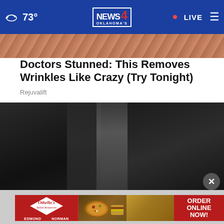73° Oklahoma's News 4 — LIVE
[Figure (photo): Close-up skin texture image strip at top of article]
Doctors Stunned: This Removes Wrinkles Like Crazy (Try Tonight)
Rejuvalift
[Figure (photo): Dark close-up image showing textured dark fabric or surface with light reflections suggesting a body/clothing detail]
[Figure (other): Othella's Italian Restaurant advertisement banner — ORDER ONLINE NOW! Edmond Norman locations]